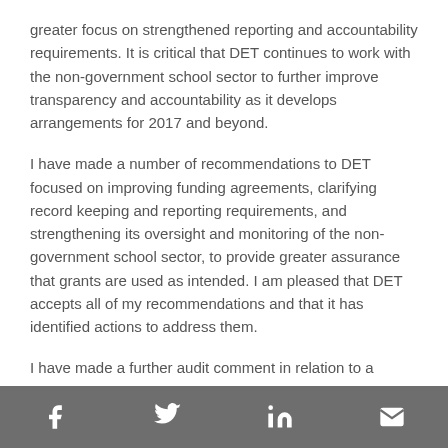greater focus on strengthened reporting and accountability requirements. It is critical that DET continues to work with the non-government school sector to further improve transparency and accountability as it develops arrangements for 2017 and beyond.
I have made a number of recommendations to DET focused on improving funding agreements, clarifying record keeping and reporting requirements, and strengthening its oversight and monitoring of the non-government school sector, to provide greater assurance that grants are used as intended. I am pleased that DET accepts all of my recommendations and that it has identified actions to address them.
I have made a further audit comment in relation to a number of matters raised by the CECV. Its response includes a series of assertions and inferences which comprehensively misrepresent the content of my report.
Social media icons: Facebook, Twitter, LinkedIn, Email